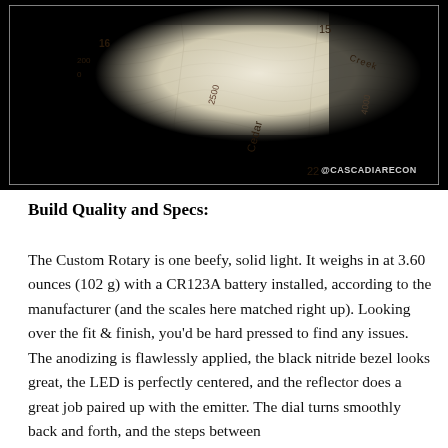[Figure (map): Topographic map showing contour lines, elevation numbers (16, 2500, 4000, 22, 15), creek labels (Cedar, Creek), partially illuminated by a circular spotlight on dark background. Watermark @CASCADIARECON in bottom right.]
Build Quality and Specs:
The Custom Rotary is one beefy, solid light. It weighs in at 3.60 ounces (102 g) with a CR123A battery installed, according to the manufacturer (and the scales here matched right up). Looking over the fit & finish, you'd be hard pressed to find any issues. The anodizing is flawlessly applied, the black nitride bezel looks great, the LED is perfectly centered, and the reflector does a great job paired up with the emitter. The dial turns smoothly back and forth, and the steps between